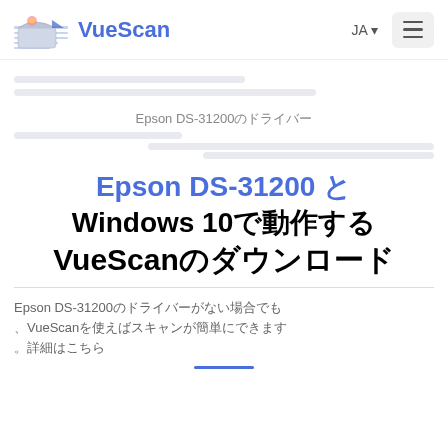VueScan
Epson DS-31200のドライバー
Epson DS-31200 と Windows 10で動作するVueScanのダウンロード
Epson DS-31200のドライバーがない場合でも、VueScanを使えばスキャンが簡単にできます。